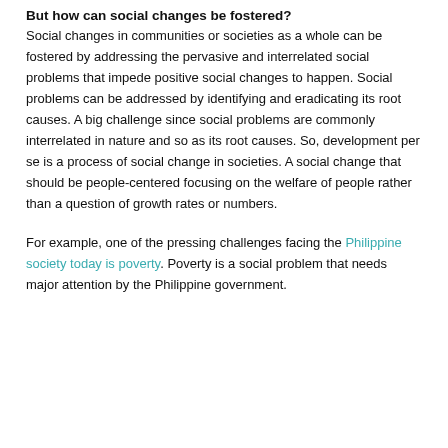But how can social changes be fostered?
Social changes in communities or societies as a whole can be fostered by addressing the pervasive and interrelated social problems that impede positive social changes to happen. Social problems can be addressed by identifying and eradicating its root causes. A big challenge since social problems are commonly interrelated in nature and so as its root causes. So, development per se is a process of social change in societies. A social change that should be people-centered focusing on the welfare of people rather than a question of growth rates or numbers.
For example, one of the pressing challenges facing the Philippine society today is poverty. Poverty is a social problem that needs major attention by the Philippine government.